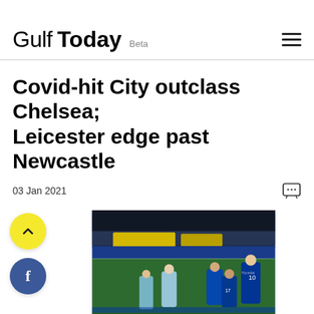Gulf Today Beta
Covid-hit City outclass Chelsea; Leicester edge past Newcastle
03 Jan 2021
[Figure (photo): Football match photo showing Manchester City and Chelsea players on the pitch, players in blue Chelsea jerseys and one in light grey City jersey]